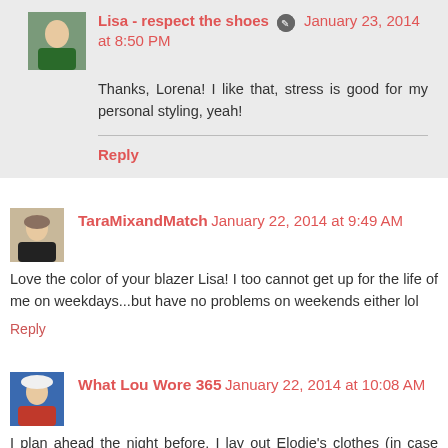Lisa - respect the shoes  January 23, 2014 at 8:50 PM
Thanks, Lorena! I like that, stress is good for my personal styling, yeah!
Reply
TaraMixandMatch  January 22, 2014 at 9:49 AM
Love the color of your blazer Lisa! I too cannot get up for the life of me on weekdays...but have no problems on weekends either lol
Reply
What Lou Wore 365  January 22, 2014 at 10:08 AM
I plan ahead the night before. I lay out Elodie's clothes (in case like this morning, she is still asleep in bed when my MIL comes over to look after her and we are off to work), make my lunch and the picture. I was glad I was talking over the rails for side...